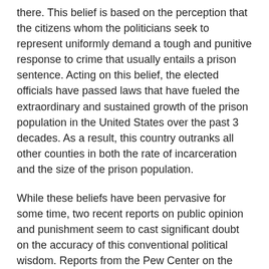there. This belief is based on the perception that the citizens whom the politicians seek to represent uniformly demand a tough and punitive response to crime that usually entails a prison sentence. Acting on this belief, the elected officials have passed laws that have fueled the extraordinary and sustained growth of the prison population in the United States over the past 3 decades. As a result, this country outranks all other counties in both the rate of incarceration and the size of the prison population.
While these beliefs have been pervasive for some time, two recent reports on public opinion and punishment seem to cast significant doubt on the accuracy of this conventional political wisdom. Reports from the Pew Center on the States and the Death Penalty Information Center both paint a picture of an electorate with some surprising views. Both of these reports are based on national polls of citizens in the spring of 2010 and the Pew report also incorporated the results of a series of focus groups.
When taken together, these reports portray a public that is more moderate, nuanced and pragmatic than most